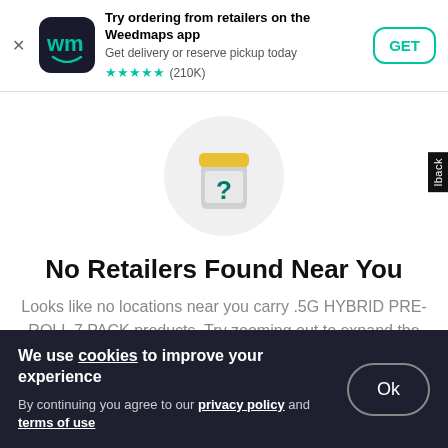[Figure (screenshot): Weedmaps app banner ad with dark icon, app title, subtitle, star rating, and GET button]
[Figure (illustration): A gray jar with a yellow lid and a teal question mark inside, within a light gray circle — indicating no product found]
No Retailers Found Near You
Looks like no locations near you carry .5G HYBRID PRE-ROLL 7 PACK products. Try zooming out to expand the search radius.
We use cookies to improve your experience
By continuing you agree to our privacy policy and terms of use
Ok